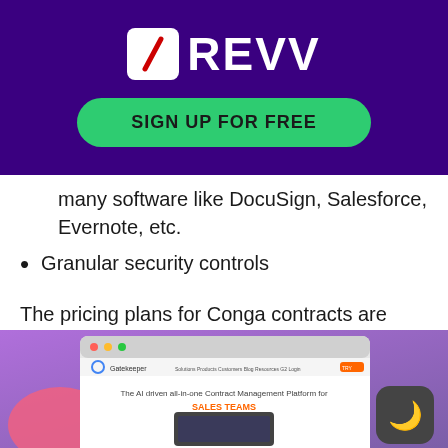[Figure (logo): REVV logo with white slash icon on purple background and green 'SIGN UP FOR FREE' button]
many software like DocuSign, Salesforce, Evernote, etc.
Granular security controls
The pricing plans for Conga contracts are customized and a free trial is available.
5. Gatekeeper
[Figure (screenshot): Gatekeeper website screenshot showing 'The AI driven all-in-one Contract Management Platform for SALES TEAMS' on a purple gradient background]